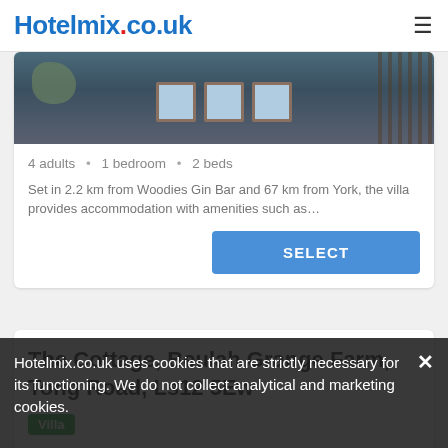Hotelmix.co.uk
[Figure (photo): Exterior photo of a brick building with windows and foliage]
4 adults · 1 bedroom · 2 beds
Set in 2.2 km from Woodies Gin Bar and 67 km from York, the villa provides accommodation with amenities such as…
SELECT
The Cottage, Beulah Grange Farm, Tong Road, Ls12 5Ew
Villa
Hotelmix.co.uk uses cookies that are strictly necessary for its functioning. We do not collect analytical and marketing cookies.